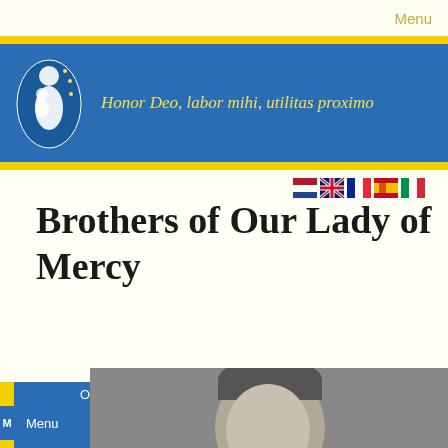Menu
[Figure (logo): Brothers of Our Lady of Mercy logo - white figure on blue background]
Honor Deo, labor mihi, utilitas proximo
[Figure (illustration): Country flags: Netherlands, UK, France, Spain, Italy]
Brothers of Our Lady of Mercy
Our Works
Menu
Links
Menu
[Figure (photo): Black and white portrait photo of a person, partially visible]